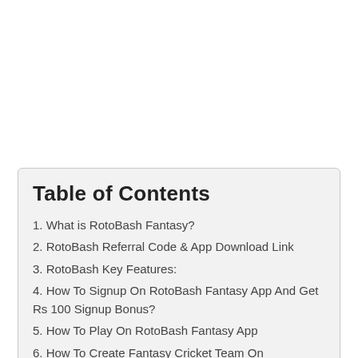Table of Contents
1. What is RotoBash Fantasy?
2. RotoBash Referral Code & App Download Link
3. RotoBash Key Features:
4. How To Signup On RotoBash Fantasy App And Get Rs 100 Signup Bonus?
5. How To Play On RotoBash Fantasy App
6. How To Create Fantasy Cricket Team On RotoBash?
6.0.1. Type Of Fantasy Formats Available On RotoBash
7. RotoBash Refer and Earn: